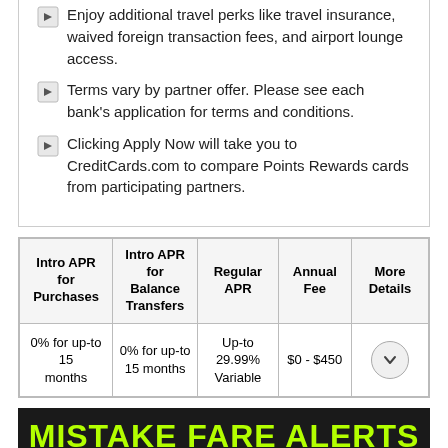Enjoy additional travel perks like travel insurance, waived foreign transaction fees, and airport lounge access.
Terms vary by partner offer. Please see each bank's application for terms and conditions.
Clicking Apply Now will take you to CreditCards.com to compare Points Rewards cards from participating partners.
| Intro APR for Purchases | Intro APR for Balance Transfers | Regular APR | Annual Fee | More Details |
| --- | --- | --- | --- | --- |
| 0% for up-to 15 months | 0% for up-to 15 months | Up-to 29.99% Variable | $0 - $450 | ▼ |
[Figure (other): Dark banner with green text reading MISTAKE FARE ALERTS]
Editorial Note: Any opinions, analyses, reviews, or recommendations expressed in this article...